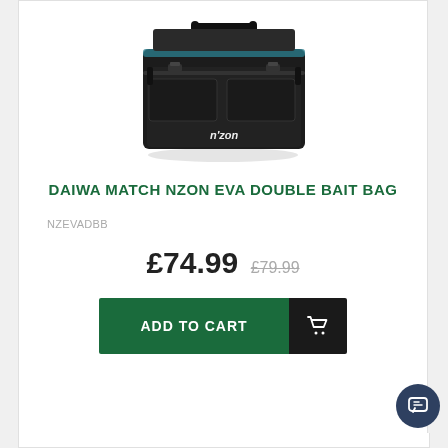[Figure (photo): Daiwa NZON EVA Double Bait Bag product photo - black rectangular fishing bag with handles and buckles]
DAIWA MATCH NZON EVA DOUBLE BAIT BAG
NZEVADBB
£74.99 £79.99
ADD TO CART